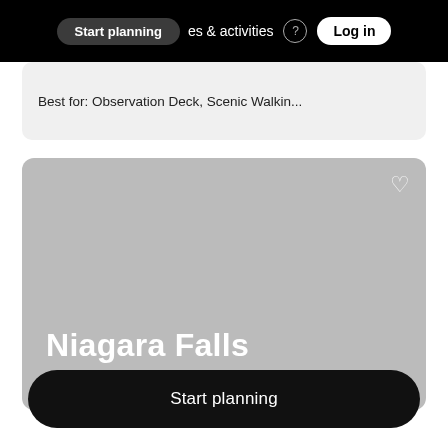Start planning   es & activities   Log in
Best for: Observation Deck, Scenic Walkin...
[Figure (photo): Gray placeholder card for Niagara Falls with white bold text 'Niagara Falls' and a heart icon in the top right corner]
Start planning